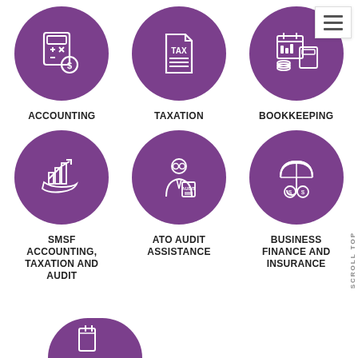[Figure (infographic): Six service icons in purple circles: Accounting (calculator with dollar), Taxation (tax document), Bookkeeping (calendar/ledger/calculator), SMSF Accounting Taxation and Audit (hand with bar chart), ATO Audit Assistance (auditor with clipboard), Business Finance and Insurance (umbrella with money bags). A seventh partial icon visible at bottom left.]
ACCOUNTING
TAXATION
BOOKKEEPING
SMSF ACCOUNTING, TAXATION AND AUDIT
ATO AUDIT ASSISTANCE
BUSINESS FINANCE AND INSURANCE